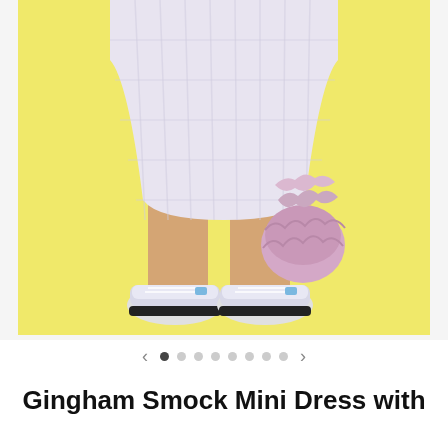[Figure (photo): A woman wearing a light lavender/white gingham smock mini dress, holding a ruffled pink/lavender drawstring bag, wearing white and silver chunky sneakers, posed against a bright yellow background. Only lower body and legs visible.]
< • ○ ○ ○ ○ ○ ○ >
Gingham Smock Mini Dress with